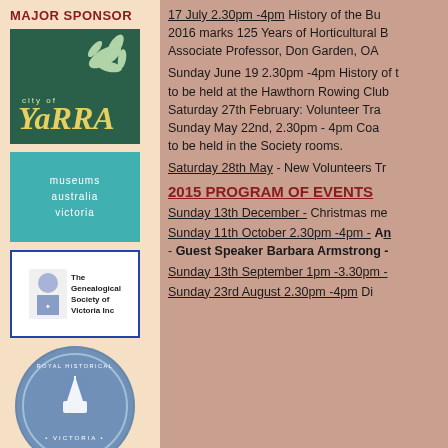MAJOR SPONSOR
[Figure (logo): City of Yarra logo - green background with white swirl design and yellow italic text 'YaRRA']
[Figure (logo): Museums Australia Victoria logo - teal background with white text]
[Figure (logo): The Genealogical Society of Victoria Inc logo - white background with blue border and crest]
[Figure (logo): Royal Historical Society Victoria circular logo - blue/grey circular badge]
17 July  2.30pm -4pm  History of the Bu... 2016 marks 125 Years of Horticultural B... Associate Professor,  Don Garden, OA...
Sunday June 19   2.30pm -4pm  History of... to be held at the Hawthorn Rowing Club... Saturday 27th February:  Volunteer Tra... Sunday May 22nd,  2.30pm - 4pm Coa... to be held in the Society rooms.
Saturday 28th May - New Volunteers Tr...
2015 PROGRAM OF EVENTS
Sunday 13th December - Christmas me...
Sunday 11th October 2.30pm -4pm - An... - Guest Speaker Barbara Armstrong -...
Sunday 13th September 1pm -3.30pm -...
Sunday 23rd August  2.30pm -4pm  Di...